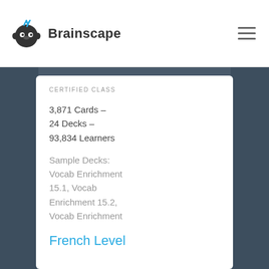Brainscape
CERTIFIED CLASS
3,871 Cards –
24 Decks –
93,834 Learners
Sample Decks: Vocab Enrichment 15.1, Vocab Enrichment 15.2, Vocab Enrichment 15.3
French Level